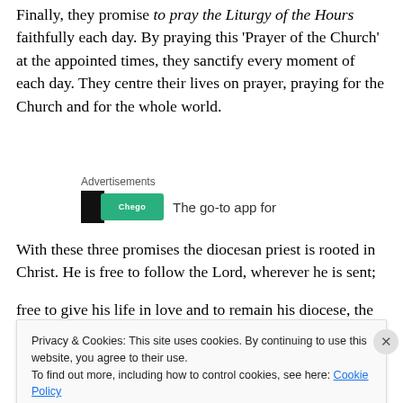Finally, they promise to pray the Liturgy of the Hours faithfully each day. By praying this ‘Prayer of the Church’ at the appointed times, they sanctify every moment of each day. They centre their lives on prayer, praying for the Church and for the whole world.
[Figure (other): Advertisement banner with black and green logo area and partial text 'The go-to app for']
With these three promises the diocesan priest is rooted in Christ. He is free to follow the Lord, wherever he is sent;
Privacy & Cookies: This site uses cookies. By continuing to use this website, you agree to their use. To find out more, including how to control cookies, see here: Cookie Policy